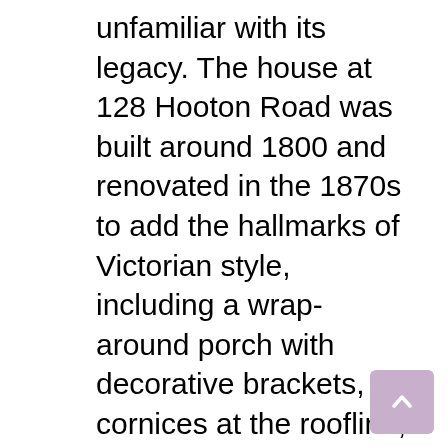unfamiliar with its legacy. The house at 128 Hooton Road was built around 1800 and renovated in the 1870s to add the hallmarks of Victorian style, including a wrap-around porch with decorative brackets, cornices at the roofline, French doors on the first floor, and a lattice under the porch. Alice Paul's parents, Tacie and William Paul, purchased Paulsdale in 1883 and went to raise their four children here. Those children—William, Helen, Parry and, of course, Alice—fondly referred to the property as